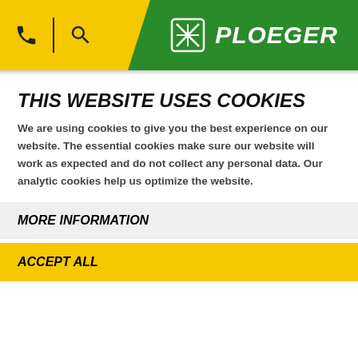[Figure (logo): Ploeger company logo on green background with phone and search icons on yellow header bar]
THIS WEBSITE USES COOKIES
We are using cookies to give you the best experience on our website. The essential cookies make sure our website will work as expected and do not collect any personal data. Our analytic cookies help us optimize the website.
MORE INFORMATION
ACCEPT ALL